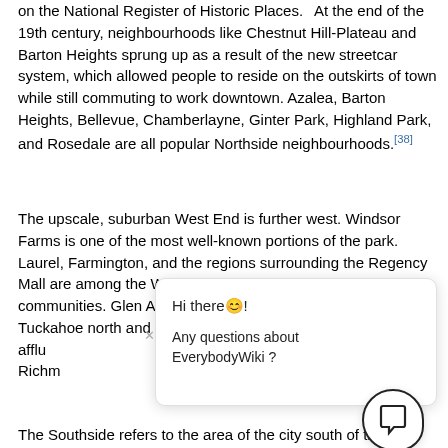on the National Register of Historic Places. At the end of the 19th century, neighbourhoods like Chestnut Hill-Plateau and Barton Heights sprung up as a result of the new streetcar system, which allowed people to reside on the outskirts of town while still commuting to work downtown. Azalea, Barton Heights, Bellevue, Chamberlayne, Ginter Park, Highland Park, and Rosedale are all popular Northside neighbourhoods.[38]
The upscale, suburban West End is further west. Windsor Farms is one of the most well-known portions of the park. Laurel, Farmington, and the regions surrounding the Regency Mall are among the West End's middle- to low-income communities. Glen Allen, Short Pump, and the districts of Tuckahoe north and northwest of Regency Mall are all more affluent neighbourhoods. On this side of town, along the Richmond Highway corridor, is the University of Richmond and the...
The Southside refers to the area of the city south of the